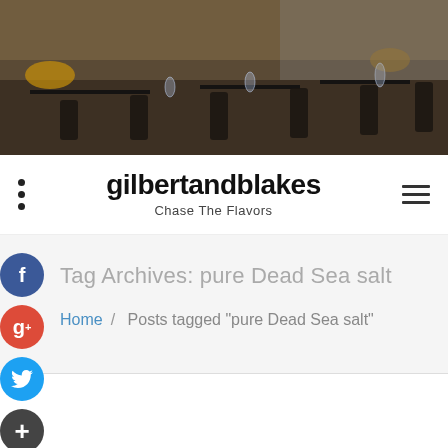[Figure (photo): Restaurant interior with dark tables, chairs, glassware and warm lighting]
gilbertandblakes
Chase The Flavors
Tag Archives: pure Dead Sea salt
Home / Posts tagged "pure Dead Sea salt"